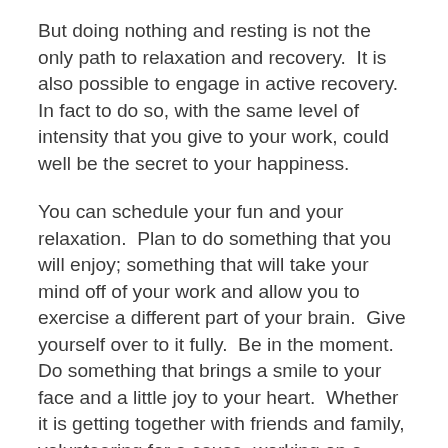But doing nothing and resting is not the only path to relaxation and recovery.  It is also possible to engage in active recovery.  In fact to do so, with the same level of intensity that you give to your work, could well be the secret to your happiness.
You can schedule your fun and your relaxation.  Plan to do something that you will enjoy; something that will take your mind off of your work and allow you to exercise a different part of your brain.  Give yourself over to it fully.  Be in the moment.  Do something that brings a smile to your face and a little joy to your heart.  Whether it is getting together with friends and family, volunteering for a cause, working on a hobby, playing a sport, completing a challenge or taking a short vacation.  Whatever it is you choose, it should be something that you love doing.  It should be so enjoyable that